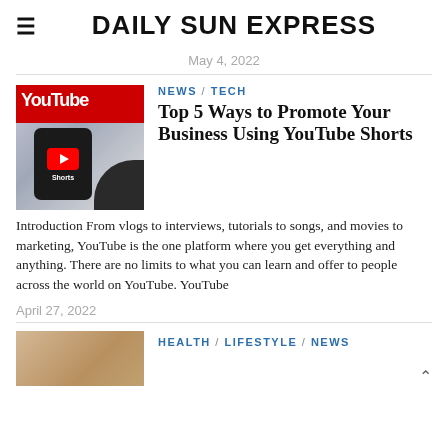DAILY SUN EXPRESS
May 4, 2022
[Figure (photo): YouTube Shorts logo on mobile phone screen being held by hand]
NEWS / TECH
Top 5 Ways to Promote Your Business Using YouTube Shorts
Introduction From vlogs to interviews, tutorials to songs, and movies to marketing, YouTube is the one platform where you get everything and anything. There are no limits to what you can learn and offer to people across the world on YouTube. YouTube
April 27, 2022
[Figure (photo): Health/lifestyle article thumbnail image]
HEALTH / LIFESTYLE / NEWS